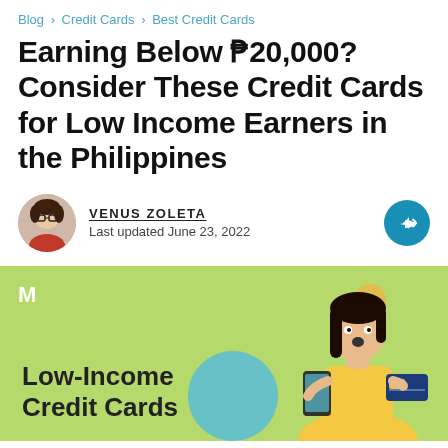Blog > Credit Cards > Best Credit Cards
Earning Below ₱20,000? Consider These Credit Cards for Low Income Earners in the Philippines
VENUS ZOLETA
Last updated June 23, 2022
[Figure (illustration): Light green banner with Moneymax M logo, text 'Low-Income Credit Cards', and a woman in yellow top holding a phone and credit card with decorative circles]